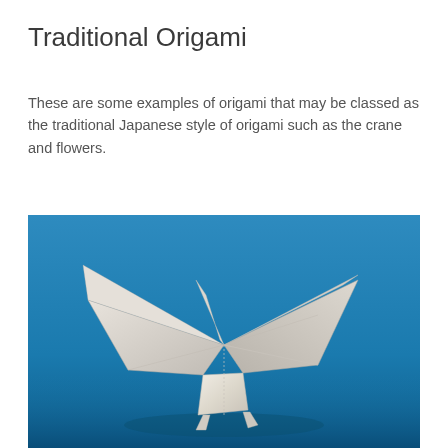Traditional Origami
These are some examples of origami that may be classed as the traditional Japanese style of origami such as the crane and flowers.
[Figure (photo): A white origami crane photographed against a bright blue background. The crane is shown in a classic folded paper style with spread wings and a pointed beak and tail.]